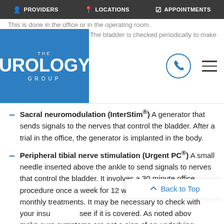PROVIDERS | LOCATIONS | APPOINTMENTS
[Figure (logo): The Urology Group logo - blue square with white text]
Sacral neuromodulation (InterStim®) A generator that sends signals to the nerves that control the bladder. After a trial in the office, the generator is implanted in the body.
Peripheral tibial nerve stimulation (Urgent PC®) A small needle inserted above the ankle to send signals to nerves that control the bladder. It involves a 30 minute office procedure once a week for 12 weeks then typically monthly treatments. It may be necessary to check with your insu[rance to] see if it is covered. As noted abov[e, ...] make sure symptoms are not a sign of an underlying disorder that poses a threat to the health. Measures